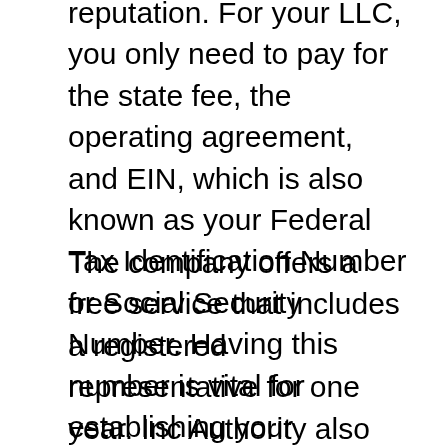reputation. For your LLC, you only need to pay for the state fee, the operating agreement, and EIN, which is also known as your Federal Tax Identification Number or Social Security Number. Having this number is vital for establishing your business in the US, including opening a bank account and signing up for online services like PayPal and eBay.
The company offers a free service that includes a registered representative for one year. Inc Authority also offers free tax advice and credit-building through its partner companies. There are several Inc Authority pricing options available, and it is important to understand your specific needs. The company's website offers tiered pricing that